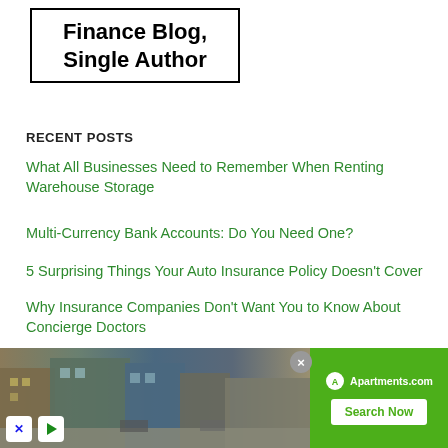Finance Blog, Single Author
RECENT POSTS
What All Businesses Need to Remember When Renting Warehouse Storage
Multi-Currency Bank Accounts: Do You Need One?
5 Surprising Things Your Auto Insurance Policy Doesn't Cover
Why Insurance Companies Don't Want You to Know About Concierge Doctors
3 Driving Tips that Will Help You Avoid an Accident with a Big Rig
How I Survived Two Armed Robberies (and How You Can Too)
Black Coffee: More Sticker Shock
[Figure (screenshot): Advertisement banner for Apartments.com showing a street-level photo of apartment buildings with a green sidebar containing the Apartments.com logo and a 'Search Now' button]